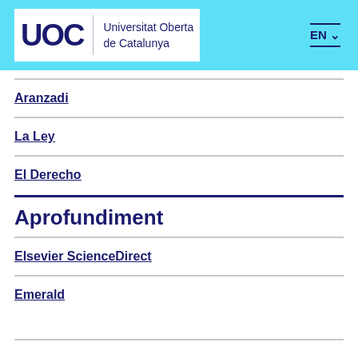UOC Universitat Oberta de Catalunya EN
Aranzadi
La Ley
El Derecho
Aprofundiment
Elsevier ScienceDirect
Emerald